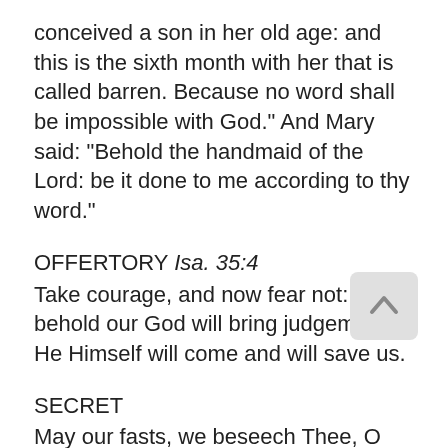conceived a son in her old age: and this is the sixth month with her that is called barren. Because no word shall be impossible with God." And Mary said: "Behold the handmaid of the Lord: be it done to me according to thy word."
OFFERTORY Isa. 35:4
Take courage, and now fear not: for behold our God will bring judgement: He Himself will come and will save us.
SECRET
May our fasts, we beseech Thee, O Lord, be acceptable unto Thee, and by expiating our sins, make us worthy of Thy grace, and bring us to Thine everlasting promise. Through our